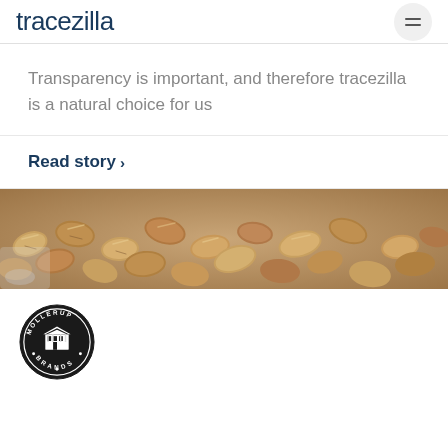tracezilla
Transparency is important, and therefore tracezilla is a natural choice for us
Read story ›
[Figure (photo): Close-up photo of hemp seeds piled together on a surface]
[Figure (logo): Mollerup Brands circular black logo with building illustration]